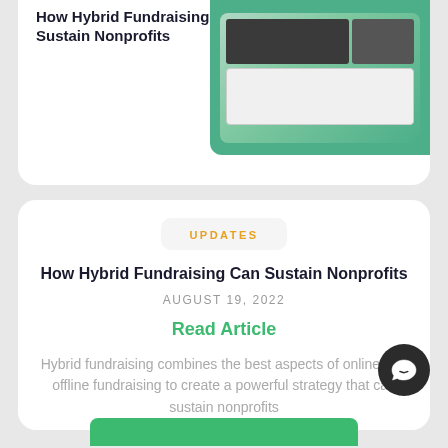[Figure (screenshot): Screenshot of a fundraising app/website showing event images and a data table interface with green accents]
How Hybrid Fundraising Can Sustain Nonprofits
UPDATES
How Hybrid Fundraising Can Sustain Nonprofits
AUGUST 19, 2022
Read Article
Hybrid fundraising combines the best aspects of online and offline fundraising to create a powerful strategy that can sustain nonprofits